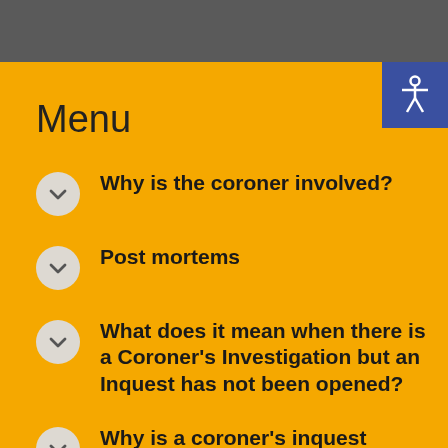Menu
Why is the coroner involved?
Post mortems
What does it mean when there is a Coroner's Investigation but an Inquest has not been opened?
Why is a coroner's inquest